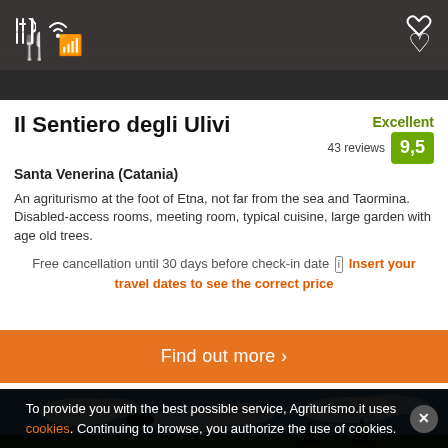[Figure (photo): Top photo of property — dark panoramic image showing a terrace or outdoor area, with restaurant/fork-knife icon and wifi icon on left, heart/favorite icon on right]
Il Sentiero degli Ulivi
Santa Venerina (Catania)
Excellent 9,5 43 reviews
An agriturismo at the foot of Etna, not far from the sea and Taormina. Disabled-access rooms, meeting room, typical cuisine, large garden with age old trees.
Free cancellation until 30 days before check-in date [i] Insert your travel dates to see the correct price
Find out more >
[Figure (photo): Bottom photo showing a blue sky with white clouds and silhouettes of trees and a palm tree]
To provide you with the best possible service, Agriturismo.it uses cookies. Continuing to browse, you authorize the use of cookies.